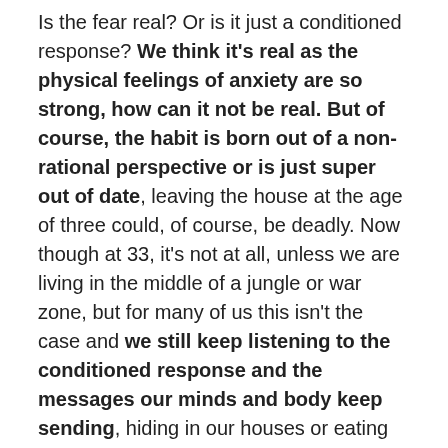Is the fear real? Or is it just a conditioned response? We think it's real as the physical feelings of anxiety are so strong, how can it not be real. But of course, the habit is born out of a non-rational perspective or is just super out of date, leaving the house at the age of three could, of course, be deadly. Now though at 33, it's not at all, unless we are living in the middle of a jungle or war zone, but for many of us this isn't the case and we still keep listening to the conditioned response and the messages our minds and body keep sending, hiding in our houses or eating food we really don't want
It's time to look at our habits from this level of perspective and work to start breaking them,